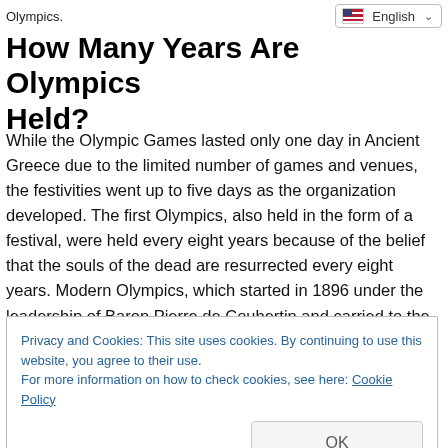Olympics.
How Many Years Are Olympics Held?
While the Olympic Games lasted only one day in Ancient Greece due to the limited number of games and venues, the festivities went up to five days as the organization developed. The first Olympics, also held in the form of a festival, were held every eight years because of the belief that the souls of the dead are resurrected every eight years. Modern Olympics, which started in 1896 under the leadership of Baron Pierre de Coubertin and carried to the present day, are held every four
Privacy and Cookies: This site uses cookies. By continuing to use this website, you agree to their use.
For more information on how to check cookies, see here: Cookie Policy
organization, which has certain standards and rules, the